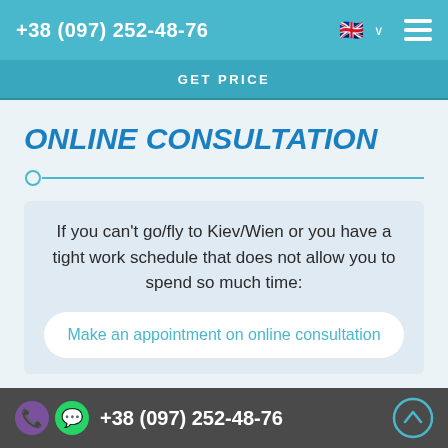+38 (097) 252-48-76
GET PRICE
ONLINE CONSULTATION
If you can't go/fly to Kiev/Wien or you have a tight work schedule that does not allow you to spend so much time:
Make an appointment on online consultation
+38 (097) 252-48-76